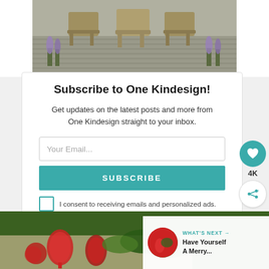[Figure (photo): Outdoor patio scene with wooden chairs and lavender plants on a deck, partially visible at top of page]
Subscribe to One Kindesign!
Get updates on the latest posts and more from One Kindesign straight to your inbox.
Your Email...
SUBSCRIBE
I consent to receiving emails and personalized ads.
4K
WHAT'S NEXT → Have Yourself A Merry...
[Figure (photo): Holiday themed photo with red wine glasses and evergreen branches, partially visible at bottom of page]